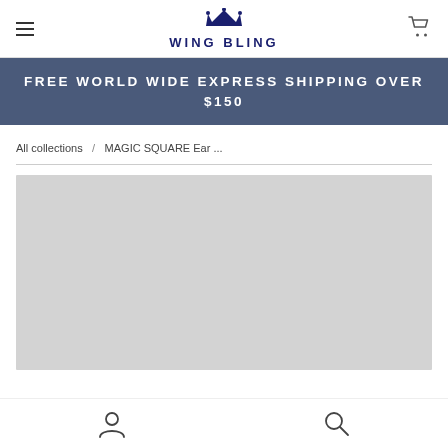WING BLING
FREE WORLD WIDE EXPRESS SHIPPING OVER $150
All collections / MAGIC SQUARE Ear ...
[Figure (photo): Product image placeholder (light grey rectangle)]